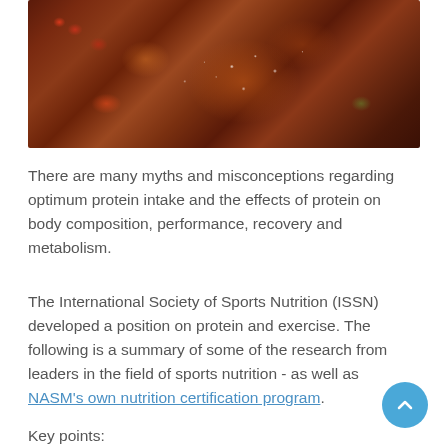[Figure (photo): Close-up photo of a grilled/seared steak with seasoning (white spices/salt), rosemary herb garnish, and tomatoes in the background on a dark surface.]
There are many myths and misconceptions regarding optimum protein intake and the effects of protein on body composition, performance, recovery and metabolism.
The International Society of Sports Nutrition (ISSN) developed a position on protein and exercise. The following is a summary of some of the research from leaders in the field of sports nutrition - as well as NASM's own nutrition certification program.
Key points: